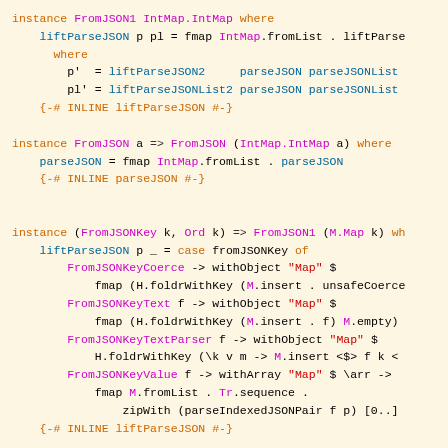instance FromJSON1 IntMap.IntMap where
    liftParseJSON p pl = fmap IntMap.fromList . liftParse
      where
        p'  = liftParseJSON2     parseJSON parseJSONList
        pl' = liftParseJSONList2 parseJSON parseJSONList
    {-# INLINE liftParseJSON #-}

instance FromJSON a => FromJSON (IntMap.IntMap a) where
    parseJSON = fmap IntMap.fromList . parseJSON
    {-# INLINE parseJSON #-}


instance (FromJSONKey k, Ord k) => FromJSON1 (M.Map k) wh
    liftParseJSON p _ = case fromJSONKey of
        FromJSONKeyCoerce -> withObject "Map" $
            fmap (H.foldrWithKey (M.insert . unsafeCoerce
        FromJSONKeyText f -> withObject "Map" $
            fmap (H.foldrWithKey (M.insert . f) M.empty)
        FromJSONKeyTextParser f -> withObject "Map" $
            H.foldrWithKey (\k v m -> M.insert <$> f k <
        FromJSONKeyValue f -> withArray "Map" $ \arr ->
            fmap M.fromList . Tr.sequence .
                zipWith (parseIndexedJSONPair f p) [0..]
    {-# INLINE liftParseJSON #-}

instance (FromJSONKey k, Ord k, FromJSON v) => FromJSON
    parseJSON = parseJSON1
    {-# INLINE parseJSON #-}